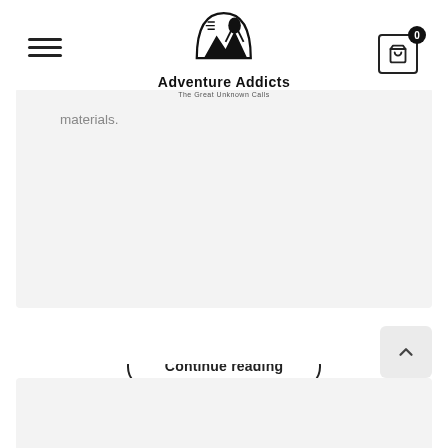Adventure Addicts — The Great Unknown Calls
materials.
Continue reading
[Figure (other): Partial gray card / content block at bottom of page]